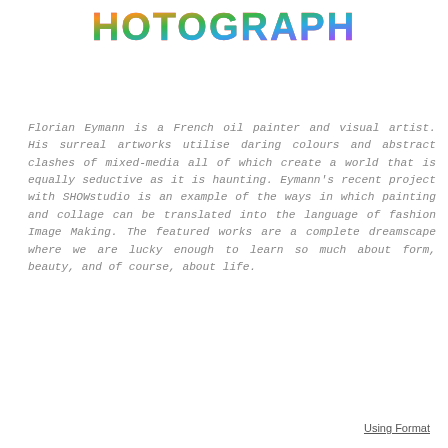[Figure (illustration): Colorful hand-drawn graffiti-style text reading PHOTOGRAPHY in rainbow/multicolor lettering]
Florian Eymann is a French oil painter and visual artist. His surreal artworks utilise daring colours and abstract clashes of mixed-media all of which create a world that is equally seductive as it is haunting. Eymann's recent project with SHOWstudio is an example of the ways in which painting and collage can be translated into the language of fashion Image Making. The featured works are a complete dreamscape where we are lucky enough to learn so much about form, beauty, and of course, about life.
Using Format